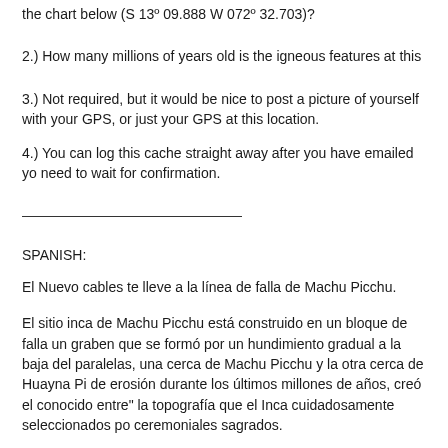the chart below (S 13º 09.888 W 072º 32.703)?
2.) How many millions of years old is the igneous features at this
3.) Not required, but it would be nice to post a picture of yourself with your GPS, or just your GPS at this location.
4.) You can log this cache straight away after you have emailed yo need to wait for confirmation.
SPANISH:
El Nuevo cables te lleve a la línea de falla de Machu Picchu.
El sitio inca de Machu Picchu está construido en un bloque de falla un graben que se formó por un hundimiento gradual a la baja del paralelas, una cerca de Machu Picchu y la otra cerca de Huayna Pi de erosión durante los últimos millones de años, creó el conocido entre" la topografía que el Inca cuidadosamente seleccionados po ceremoniales sagrados.